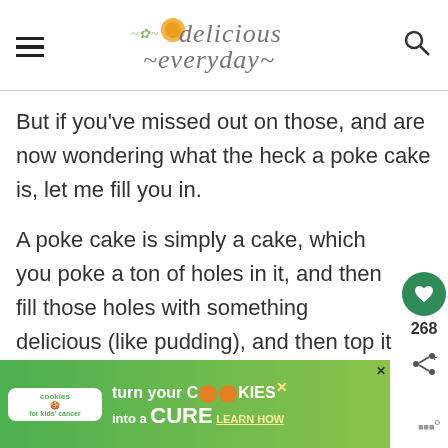delicious everyday
But if you've missed out on those, and are now wondering what the heck a poke cake is, let me fill you in.
A poke cake is simply a cake, which you poke a ton of holes in it, and then fill those holes with something delicious (like pudding), and then top it all with frosting.
[Figure (screenshot): Cookies for kids cancer advertisement: turn your COOKIES into a CURE LEARN HOW]
[Figure (infographic): Social action buttons: heart/save button with 268 count, and share button]